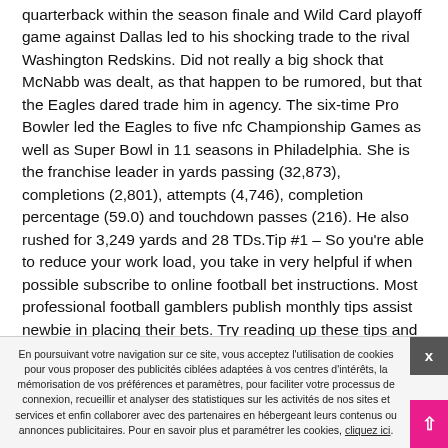quarterback within the season finale and Wild Card playoff game against Dallas led to his shocking trade to the rival Washington Redskins. Did not really a big shock that McNabb was dealt, as that happen to be rumored, but that the Eagles dared trade him in agency. The six-time Pro Bowler led the Eagles to five nfc Championship Games as well as Super Bowl in 11 seasons in Philadelphia. She is the franchise leader in yards passing (32,873), completions (2,801), attempts (4,746), completion percentage (59.0) and touchdown passes (216). He also rushed for 3,249 yards and 28 TDs.Tip #1 – So you're able to reduce your work load, you take in very helpful if when possible subscribe to online football bet instructions. Most professional football gamblers publish monthly tips assist newbie in placing their bets. Try reading up these tips and apply
En poursuivant votre navigation sur ce site, vous acceptez l'utilisation de cookies pour vous proposer des publicités ciblées adaptées à vos centres d'intérêts, la mémorisation de vos préférences et paramètres, pour faciliter votre processus de connexion, recueillir et analyser des statistiques sur les activités de nos sites et services et enfin collaborer avec des partenaires en hébergeant leurs contenus ou annonces publicitaires. Pour en savoir plus et paramétrer les cookies, cliquez ici.